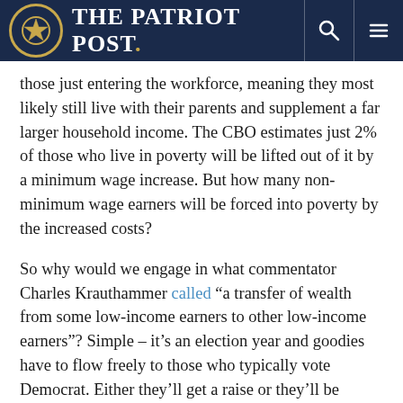THE PATRIOT POST.
those just entering the workforce, meaning they most likely still live with their parents and supplement a far larger household income. The CBO estimates just 2% of those who live in poverty will be lifted out of it by a minimum wage increase. But how many non-minimum wage earners will be forced into poverty by the increased costs?
So why would we engage in what commentator Charles Krauthammer called “a transfer of wealth from some low-income earners to other low-income earners”? Simple – it’s an election year and goodies have to flow freely to those who typically vote Democrat. Either they’ll get a raise or they’ll be enjoying many months’ worth of unemployment payments, a win-win for the lazy and statists